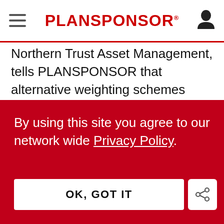PLANSPONSOR
Northern Trust Asset Management, tells PLANSPONSOR that alternative weighting schemes may pose less risk in long-horizon investing as opposed to thematic investing, however.
“You can pick factors that have long cycle lengths and higher return premiums such as value, and
By using this site you agree to our network wide Privacy Policy.
OK, GOT IT